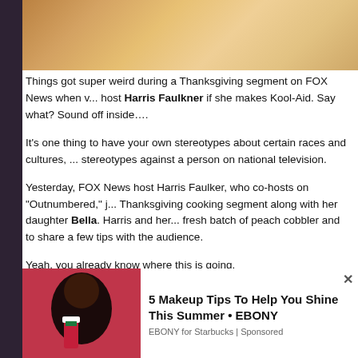[Figure (photo): Partial view of a Thanksgiving dinner table spread with dishes and food items]
Things got super weird during a Thanksgiving segment on FOX News when v... host Harris Faulkner if she makes Kool-Aid. Say what? Sound off inside....
It's one thing to have your own stereotypes about certain races and cultures, ... stereotypes against a person on national television.
Yesterday, FOX News host Harris Faulker, who co-hosts on "Outnumbered," j... Thanksgiving cooking segment along with her daughter Bella. Harris and her... fresh batch of peach cobbler and to share a few tips with the audience.
Yeah, you already know where this is going.
As Harris and Bella began cooking, the co-hosts were chit-chatting with each... Harris, "Do you make Kool-Aid?"
Clearly taken aback a little, Harris responds, "Uhh…do I do what?"
[Figure (photo): Advertisement: Woman holding a Starbucks red cup against a red background]
5 Makeup Tips To Help You Shine This Summer • EBONY
EBONY for Starbucks | Sponsored